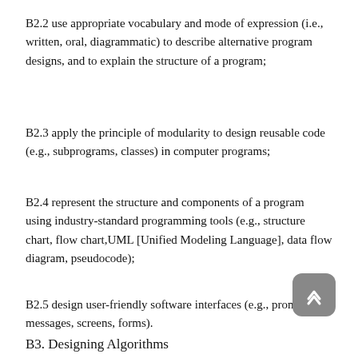B2.2 use appropriate vocabulary and mode of expression (i.e., written, oral, diagrammatic) to describe alternative program designs, and to explain the structure of a program;
B2.3 apply the principle of modularity to design reusable code (e.g., subprograms, classes) in computer programs;
B2.4 represent the structure and components of a program using industry-standard programming tools (e.g., structure chart, flow chart, UML [Unified Modeling Language], data flow diagram, pseudocode);
B2.5 design user-friendly software interfaces (e.g., prompts, messages, screens, forms).
B3. Designing Algorithms